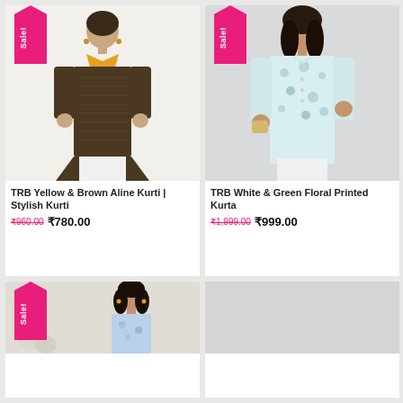[Figure (photo): Woman wearing TRB Yellow & Brown Aline Kurti on white background, sale badge in top left]
TRB Yellow & Brown Aline Kurti | Stylish Kurti
₹960.00 ₹780.00
[Figure (photo): Woman wearing TRB White & Green Floral Printed Kurta on gray background, sale badge in top left]
TRB White & Green Floral Printed Kurta
₹1,999.00 ₹999.00
[Figure (photo): Woman wearing blue floral kurti, sale badge in top left, partially visible at bottom]
[Figure (photo): Partially visible product image at bottom right]